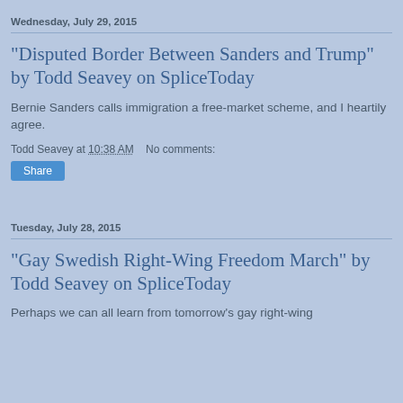Wednesday, July 29, 2015
“Disputed Border Between Sanders and Trump” by Todd Seavey on SpliceToday
Bernie Sanders calls immigration a free-market scheme, and I heartily agree.
Todd Seavey at 10:38 AM   No comments:
Share
Tuesday, July 28, 2015
“Gay Swedish Right-Wing Freedom March” by Todd Seavey on SpliceToday
Perhaps we can all learn from tomorrow’s gay right-wing freedom march in Sweden, as the Swedes have in the past.